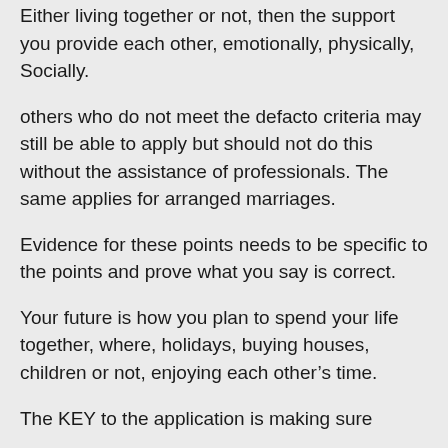Either living together or not, then the support you provide each other, emotionally, physically, Socially.
others who do not meet the defacto criteria may still be able to apply but should not do this without the assistance of professionals. The same applies for arranged marriages.
Evidence for these points needs to be specific to the points and prove what you say is correct.
Your future is how you plan to spend your life together, where, holidays, buying houses, children or not, enjoying each other’s time.
The KEY to the application is making sure